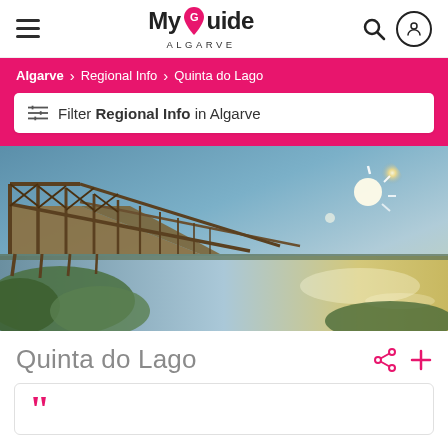MyGuide ALGARVE
Algarve > Regional Info > Quinta do Lago
Filter Regional Info in Algarve
[Figure (photo): Wide panoramic photo of a wooden boardwalk/bridge structure extending over a lagoon or estuary, with bright sunlight in the sky and vegetation in the foreground, Quinta do Lago area, Algarve]
Quinta do Lago